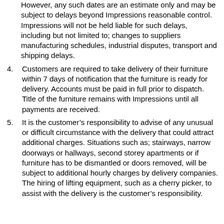However, any such dates are an estimate only and may be subject to delays beyond Impressions reasonable control. Impressions will not be held liable for such delays, including but not limited to; changes to suppliers manufacturing schedules, industrial disputes, transport and shipping delays.
4. Customers are required to take delivery of their furniture within 7 days of notification that the furniture is ready for delivery. Accounts must be paid in full prior to dispatch. Title of the furniture remains with Impressions until all payments are received.
5. It is the customer’s responsibility to advise of any unusual or difficult circumstance with the delivery that could attract additional charges. Situations such as; stairways, narrow doorways or hallways, second storey apartments or if furniture has to be dismantled or doors removed, will be subject to additional hourly charges by delivery companies. The hiring of lifting equipment, such as a cherry picker, to assist with the delivery is the customer’s responsibility.